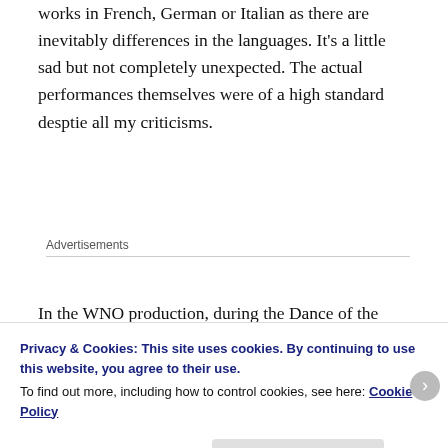works in French, German or Italian as there are inevitably differences in the languages. It's a little sad but not completely unexpected. The actual performances themselves were of a high standard desptie all my criticisms.
Advertisements
In the WNO production, during the Dance of the Persian Slaves they have a single dancer in a silk dress perform over Khovansky while he lays in his bathtub. She performs
Privacy & Cookies: This site uses cookies. By continuing to use this website, you agree to their use.
To find out more, including how to control cookies, see here: Cookie Policy